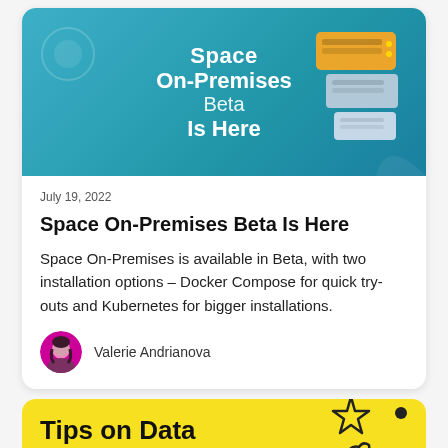[Figure (illustration): Teal/blue banner with white bold text 'Space On-Premises Beta Is Here' and a yellow server rack illustration on the right, decorative circles on the left]
July 19, 2022
Space On-Premises Beta Is Here
Space On-Premises is available in Beta, with two installation options – Docker Compose for quick try-outs and Kubernetes for bigger installations.
Valerie Andrianova
[Figure (illustration): Yellow banner with bold black text 'Tips on Data Science Collaboration' and a hand holding a star illustration on the right]